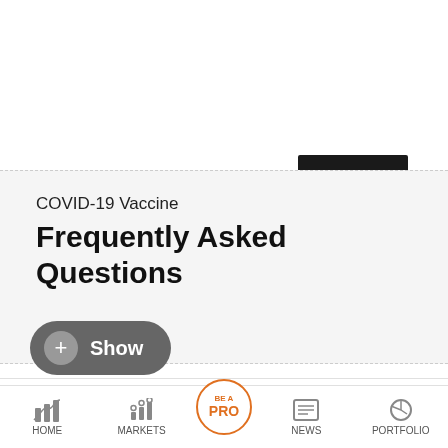COVID-19 Vaccine
Frequently Asked Questions
+ Show
RELATED STORIES
China announces plans to issue visas for...
Finnish PM tests negative for drugs in...
HOME  MARKETS  BE A PRO  NEWS  PORTFOLIO